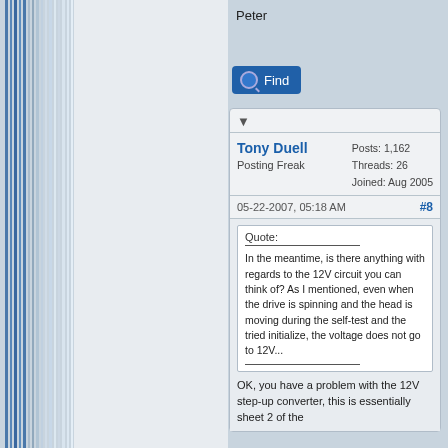Peter
[Figure (screenshot): A 'Find' button with magnifying glass icon, blue background, white text]
Tony Duell
Posting Freak
Posts: 1,162
Threads: 26
Joined: Aug 2005
05-22-2007, 05:18 AM  #8
Quote:
In the meantime, is there anything with regards to the 12V circuit you can think of? As I mentioned, even when the drive is spinning and the head is moving during the self-test and the tried initialize, the voltage does not go to 12V...
OK, you have a problem with the 12V step-up converter, this is essentially sheet 2 of the